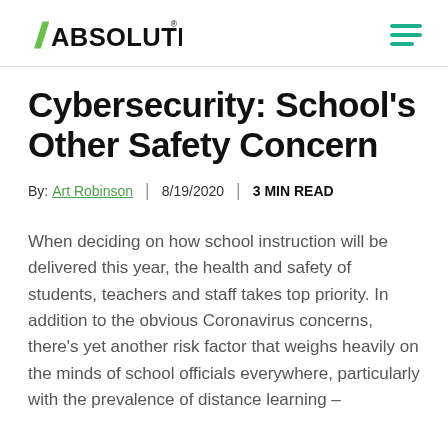ABSOLUTE (logo) | hamburger menu
Cybersecurity: School’s Other Safety Concern
By: Art Robinson | 8/19/2020 | 3 MIN READ
When deciding on how school instruction will be delivered this year, the health and safety of students, teachers and staff takes top priority. In addition to the obvious Coronavirus concerns, there’s yet another risk factor that weighs heavily on the minds of school officials everywhere, particularly with the prevalence of distance learning –